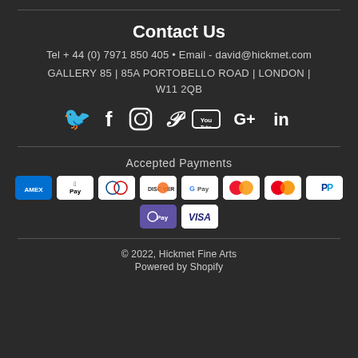Contact Us
Tel + 44 (0) 7971 850 405 • Email - david@hickmet.com
GALLERY 85 | 85A PORTOBELLO ROAD | LONDON | W11 2QB
[Figure (infographic): Social media icons row: Twitter, Facebook, Instagram, Pinterest, YouTube, Google+, LinkedIn]
Accepted Payments
[Figure (infographic): Payment method badges: American Express, Apple Pay, Diners Club, Discover, Google Pay, Mastercard (two variants), PayPal, O Pay, Visa]
© 2022, Hickmet Fine Arts
Powered by Shopify